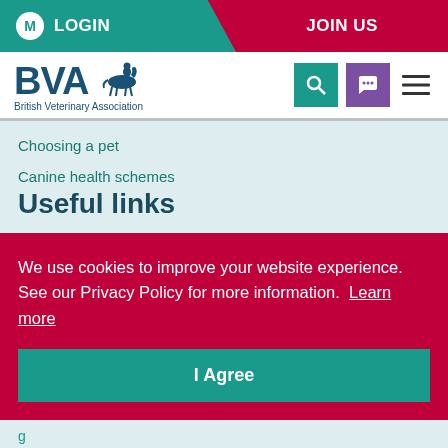LOGIN   JOIN US
[Figure (logo): BVA British Veterinary Association logo with horse and rider illustration]
Choosing a pet
Canine health schemes
Useful links
We use cookies to improve your website experience. See our Privacy Policy for more information.  Learn more
I Agree